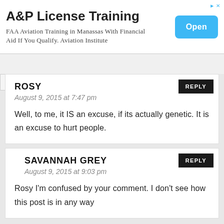[Figure (screenshot): Advertisement banner for A&P License Training. Title: 'A&P License Training', subtitle: 'FAA Aviation Training in Manassas With Financial Aid If You Qualify. Aviation Institute', with a blue 'Open' button on the right.]
ROSY
August 9, 2015 at 7:47 pm
Well, to me, it IS an excuse, if its actually genetic. It is an excuse to hurt people.
SAVANNAH GREY
August 9, 2015 at 9:03 pm
Rosy I'm confused by your comment. I don't see how this post is in any way